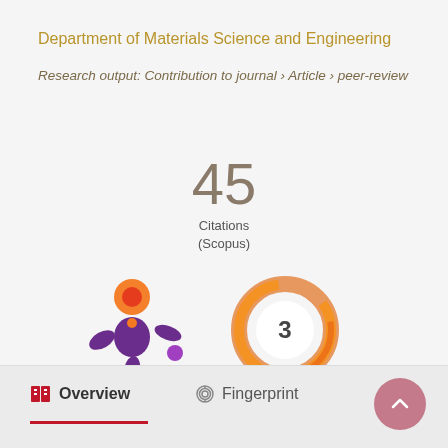Department of Materials Science and Engineering
Research output: Contribution to journal › Article › peer-review
45
Citations
(Scopus)
[Figure (logo): Altmetric star/splash logo in purple and orange]
[Figure (donut-chart): Orange donut chart with number 3 in center]
Overview
Fingerprint